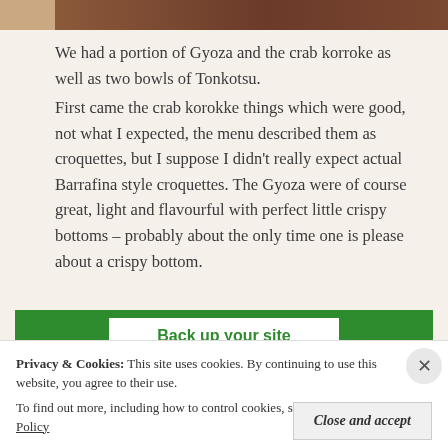[Figure (photo): Top photo strip showing food item, partially cropped at top of page]
We had a portion of Gyoza and the crab korroke as well as two bowls of Tonkotsu.
First came the crab korokke things which were good, not what I expected, the menu described them as croquettes, but I suppose I didn't really expect actual Barrafina style croquettes. The Gyoza were of course great, light and flavourful with perfect little crispy bottoms – probably about the only time one is please about a crispy bottom.
[Figure (screenshot): Green banner with white box containing text 'Back up your site']
Privacy & Cookies:  This site uses cookies. By continuing to use this website, you agree to their use.
To find out more, including how to control cookies, see here: Cookie Policy
Close and accept